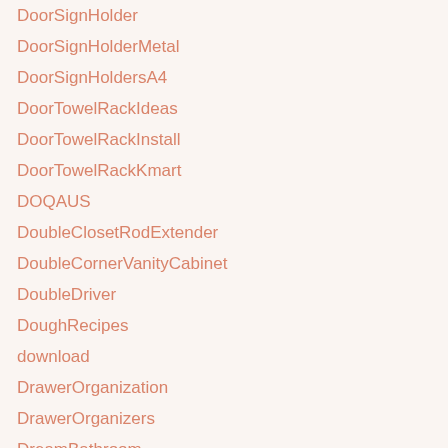DoorSignHolder
DoorSignHolderMetal
DoorSignHoldersA4
DoorTowelRackIdeas
DoorTowelRackInstall
DoorTowelRackKmart
DOQAUS
DoubleClosetRodExtender
DoubleCornerVanityCabinet
DoubleDriver
DoughRecipes
download
DrawerOrganization
DrawerOrganizers
DreamBathroom